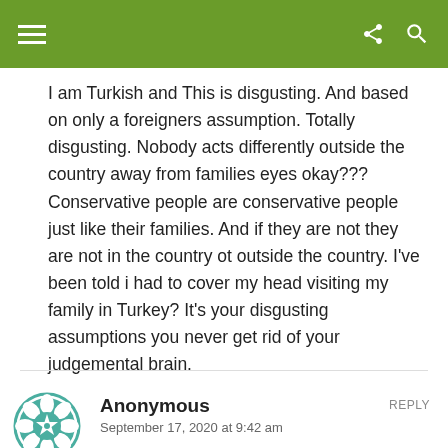Navigation bar with hamburger menu, share icon, and search icon
I am Turkish and This is disgusting. And based on only a foreigners assumption. Totally disgusting. Nobody acts differently outside the country away from families eyes okay??? Conservative people are conservative people just like their families. And if they are not they are not in the country ot outside the country. I've been told i had to cover my head visiting my family in Turkey? It's your disgusting assumptions you never get rid of your judgemental brain.
Anonymous
September 17, 2020 at 9:42 am
REPLY